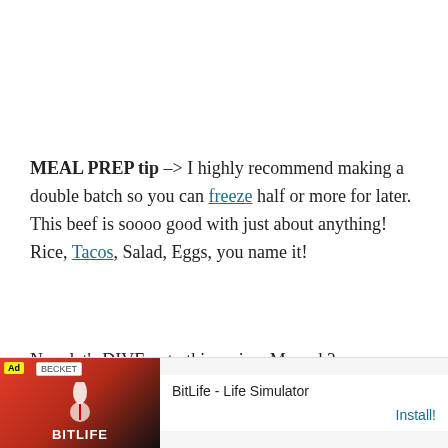MEAL PREP tip –> I highly recommend making a double batch so you can freeze half or more for later. This beef is soooo good with just about anything! Rice, Tacos, Salad, Eggs, you name it!
Now let's DIVE onto this recipe. Mmm k?
299
[Figure (photo): Partial food photo showing colorful dish with vegetables and garnishes]
[Figure (screenshot): Advertisement banner for BitLife - Life Simulator app with red/dark background and Install button]